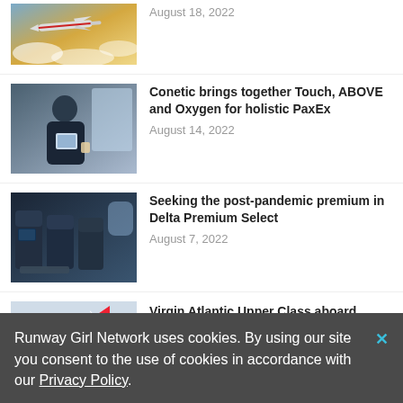[Figure (photo): Airplane flying above clouds, partially cropped at top]
August 18, 2022
[Figure (photo): Man in business suit reading a tablet in an airport lounge]
Conetic brings together Touch, ABOVE and Oxygen for holistic PaxEx
August 14, 2022
[Figure (photo): Delta Premium Select cabin interior with dark premium seats]
Seeking the post-pandemic premium in Delta Premium Select
August 7, 2022
[Figure (photo): Virgin Atlantic aircraft on tarmac, partially cropped]
Virgin Atlantic Upper Class aboard A350-1000 is breath of fresh air
Runway Girl Network uses cookies. By using our site you consent to the use of cookies in accordance with our Privacy Policy.